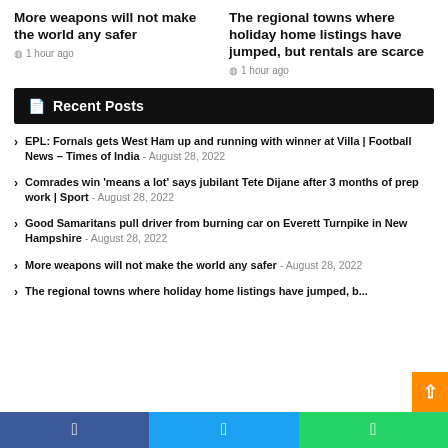More weapons will not make the world any safer
1 hour ago
The regional towns where holiday home listings have jumped, but rentals are scarce
1 hour ago
Recent Posts
EPL: Fornals gets West Ham up and running with winner at Villa | Football News – Times of India - August 28, 2022
Comrades win 'means a lot' says jubilant Tete Dijane after 3 months of prep work | Sport - August 28, 2022
Good Samaritans pull driver from burning car on Everett Turnpike in New Hampshire - August 28, 2022
More weapons will not make the world any safer - August 28, 2022
The regional towns where holiday home listings have jumped, but rentals are scarce - August 28, 2022